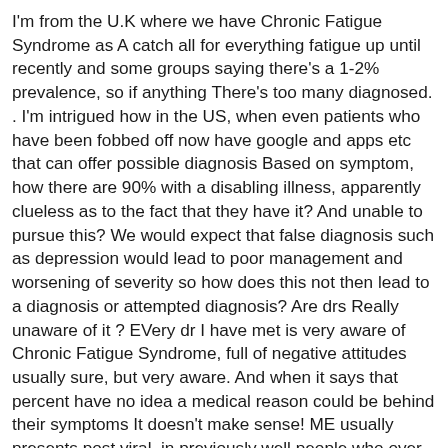I'm from the U.K where we have Chronic Fatigue Syndrome as A catch all for everything fatigue up until recently and some groups saying there's a 1-2% prevalence, so if anything There's too many diagnosed. . I'm intrigued how in the US, when even patients who have been fobbed off now have google and apps etc that can offer possible diagnosis Based on symptom, how there are 90% with a disabling illness, apparently clueless as to the fact that they have it? And unable to pursue this? We would expect that false diagnosis such as depression would lead to poor management and worsening of severity so how does this not then lead to a diagnosis or attempted diagnosis? Are drs Really unaware of it ? EVery dr I have met is very aware of Chronic Fatigue Syndrome, full of negative attitudes usually sure, but very aware. And when it says that percent have no idea a medical reason could be behind their symptoms It doesn't make sense! ME usually presents post viral, in previously well people who over night get a litany of distressing sickenss symptoms, they don't think there is a medical cause? All those with LC do! What else would it be? Are the CDC really on point here Or are they conflating ME with Chronic fatigue and minismising